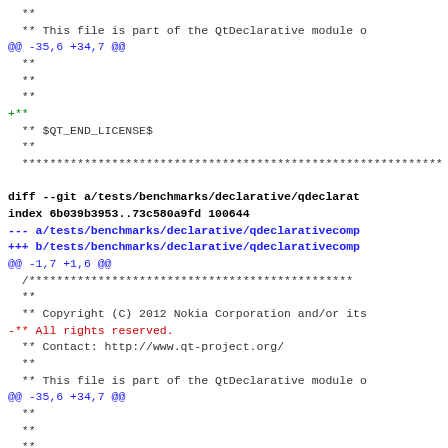diff --git output showing git diff of tests/benchmarks/declarative/qdeclarativecomp file, including copyright header changes removing 'All rights reserved.' line
**
 ** This file is part of the QtDeclarative module o
@@ -35,6 +34,7 @@
  **
  **
  **
 +**
  ** $QT_END_LICENSE$
  **
  *****

diff --git a/tests/benchmarks/declarative/qdeclarat
index 6b039b3953..73c580a9fd 100644
--- a/tests/benchmarks/declarative/qdeclarativecomp
+++ b/tests/benchmarks/declarative/qdeclarativecomp
@@ -1,7 +1,6 @@
  /****
  **
  ** Copyright (C) 2012 Nokia Corporation and/or its
 -** All rights reserved.
  ** Contact: http://www.qt-project.org/
  **
  ** This file is part of the QtDeclarative module o
@@ -35,6 +34,7 @@
  **
  **
  **
 +**
  ** $QT_END_LICENSE$
  **